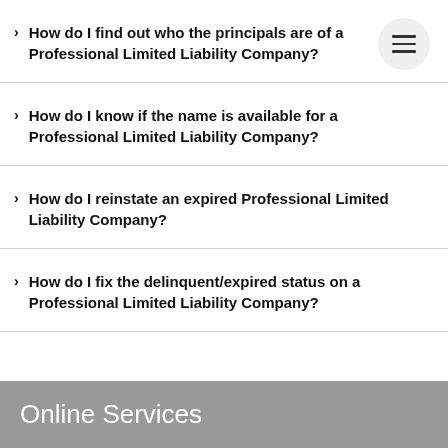How do I find out who the principals are of a Professional Limited Liability Company?
How do I know if the name is available for a Professional Limited Liability Company?
How do I reinstate an expired Professional Limited Liability Company?
How do I fix the delinquent/expired status on a Professional Limited Liability Company?
Online Services